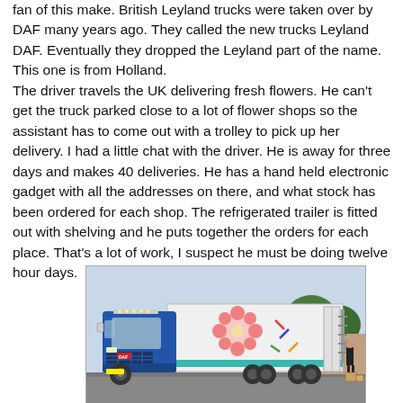fan of this make. British Leyland trucks were taken over by DAF many years ago. They called the new trucks Leyland DAF. Eventually they dropped the Leyland part of the name. This one is from Holland.
The driver travels the UK delivering fresh flowers. He can't get the truck parked close to a lot of flower shops so the assistant has to come out with a trolley to pick up her delivery. I had a little chat with the driver. He is away for three days and makes 40 deliveries. He has a hand held electronic gadget with all the addresses on there, and what stock has been ordered for each shop. The refrigerated trailer is fitted out with shelving and he puts together the orders for each place. That's a lot of work, I suspect he must be doing twelve hour days.
[Figure (photo): A blue DAF XF articulated truck with a white refrigerated trailer decorated with pink flowers and colourful markings, parked on a road. A person is standing near the open rear doors of the trailer. Trees and buildings visible in the background.]